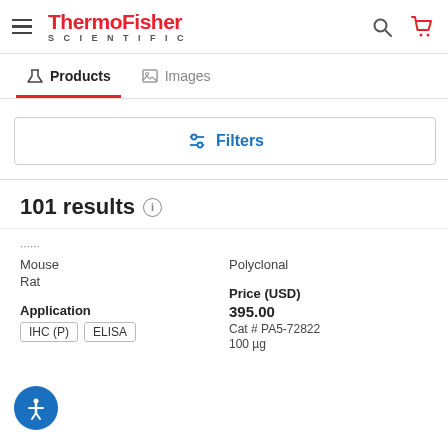ThermoFisher SCIENTIFIC
Products | Images
Filters
101 results
Mouse
Rat
Polyclonal
Application
IHC (P)  ELISA
Price (USD)
395.00
Cat # PA5-72822
100 µg